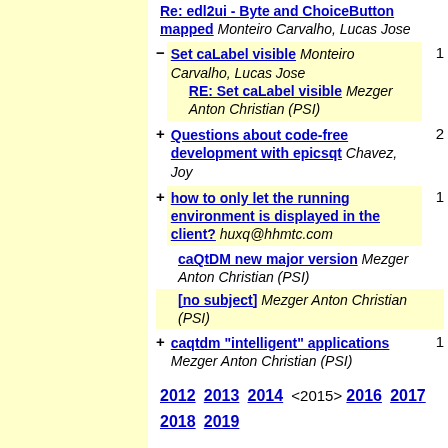Re: edl2ui - Byte and ChoiceButton mapped Monteiro Carvalho, Lucas Jose
- Set caLabel visible Monteiro Carvalho, Lucas Jose RE: Set caLabel visible Mezger Anton Christian (PSI) [count: 1]
+ Questions about code-free development with epicsqt Chavez, Joy [count: 2]
+ how to only let the running environment is displayed in the client? huxq@hhmtc.com [count: 1]
caQtDM new major version Mezger Anton Christian (PSI)
[no subject] Mezger Anton Christian (PSI)
+ caqtdm "intelligent" applications Mezger Anton Christian (PSI) [count: 1]
2012 2013 2014 <2015> 2016 2017 2018 2019